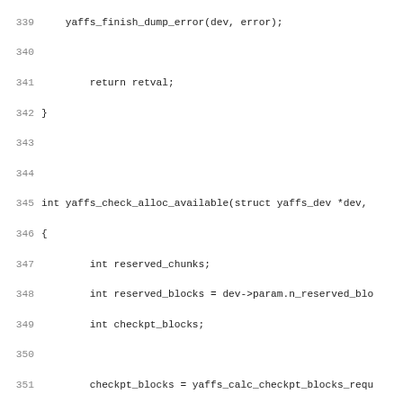Source code listing lines 339-371, C programming language, showing yaffs filesystem functions yaffs_check_alloc_available and yaffs_find_alloc_block